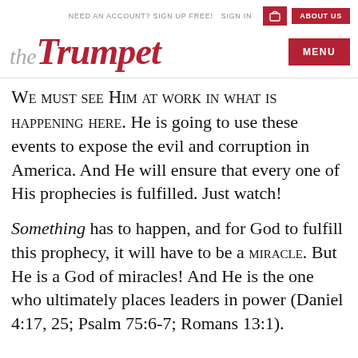NEED AN ACCOUNT? SIGN UP FREE!  SIGN IN  [basket icon]  ABOUT US
the Trumpet
MENU
WE MUST SEE HIM AT WORK IN WHAT IS HAPPENING HERE. He is going to use these events to expose the evil and corruption in America. And He will ensure that every one of His prophecies is fulfilled. Just watch!
Something has to happen, and for God to fulfill this prophecy, it will have to be a MIRACLE. But He is a God of miracles! And He is the one who ultimately places leaders in power (Daniel 4:17, 25; Psalm 75:6-7; Romans 13:1).